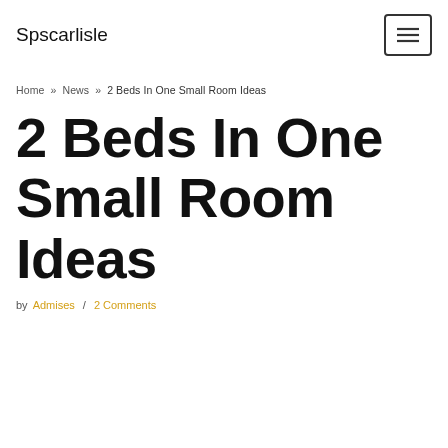Spscarlisle
Home » News » 2 Beds In One Small Room Ideas
2 Beds In One Small Room Ideas
by Admises / 2 Comments